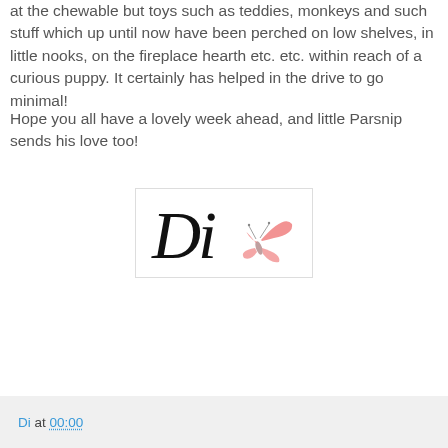at the chewable but toys such as teddies, monkeys and such stuff which up until now have been perched on low shelves, in little nooks, on the fireplace hearth etc. etc. within reach of a curious puppy. It certainly has helped in the drive to go minimal!
Hope you all have a lovely week ahead, and little Parsnip sends his love too!
[Figure (logo): Di signature logo with cursive Di text in black and a pink butterfly illustration]
Di at 00:00